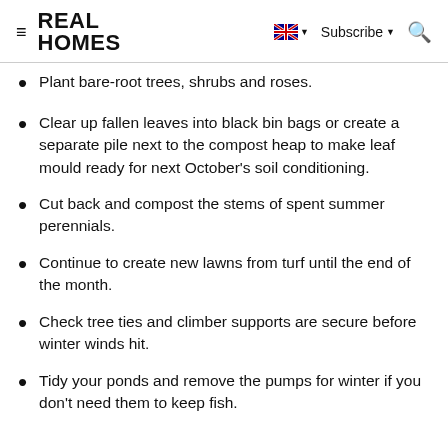REAL HOMES | Subscribe
Plant bare-root trees, shrubs and roses.
Clear up fallen leaves into black bin bags or create a separate pile next to the compost heap to make leaf mould ready for next October's soil conditioning.
Cut back and compost the stems of spent summer perennials.
Continue to create new lawns from turf until the end of the month.
Check tree ties and climber supports are secure before winter winds hit.
Tidy your ponds and remove the pumps for winter if you don't need them to keep fish.